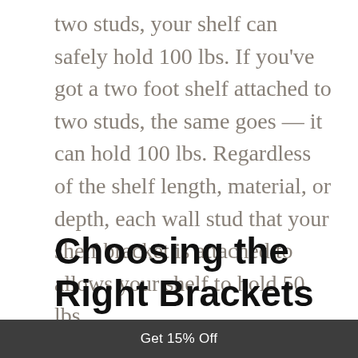two studs, your shelf can safely hold 100 lbs. If you've got a two foot shelf attached to two studs, the same goes — it can hold 100 lbs. Regardless of the shelf length, material, or depth, each wall stud that your shelf bracket is attached to allows your shelf to hold 50 lbs.
Choosing the Right Brackets and Material
Get 15% Off